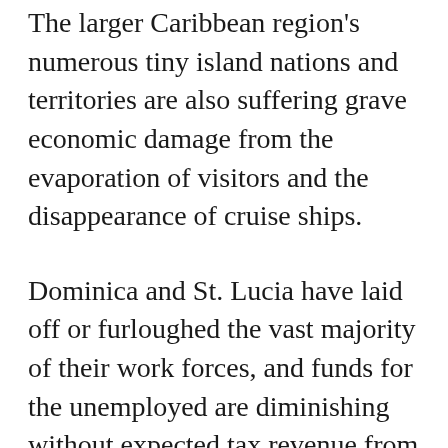The larger Caribbean region's numerous tiny island nations and territories are also suffering grave economic damage from the evaporation of visitors and the disappearance of cruise ships.
Dominica and St. Lucia have laid off or furloughed the vast majority of their work forces, and funds for the unemployed are diminishing without expected tax revenue from tourism.
Hopes that visitors from the United States are now in question, as Americans desperation for beach vacations must content with surging virus infections at